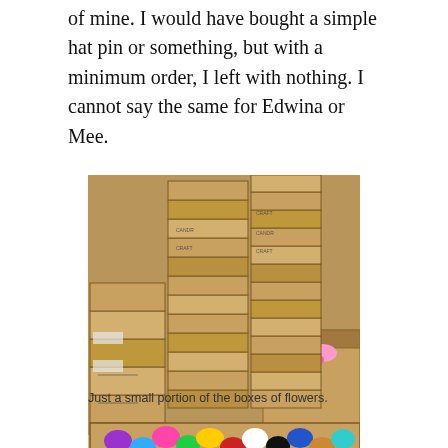of mine. I would have bought a simple hat pin or something, but with a minimum order, I left with nothing. I cannot say the same for Edwina or Mee.
[Figure (photo): A large pile of cardboard boxes stacked high in a storage area, with open boxes in the foreground filled with colorful fabric flowers.]
Just a small portion of the boxes of flowers.